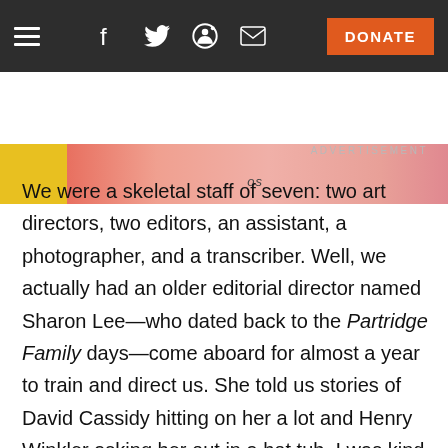≡  f  🐦  👽  ✉  DONATE
[Figure (photo): Partial banner image strip with yellow and pink/peach tones, showing partial text 'os' and a partial illustrated figure]
ADVERTISEMENT
We were a skeletal staff of seven: two art directors, two editors, an assistant, a photographer, and a transcriber. Well, we actually had an older editorial director named Sharon Lee—who dated back to the Partridge Family days—come aboard for almost a year to train and direct us. She told us stories of David Cassidy hitting on her a lot and Henry Winkler asking her out in a hot tub. I was kind of jealous.
She made it clear from the beginning that John